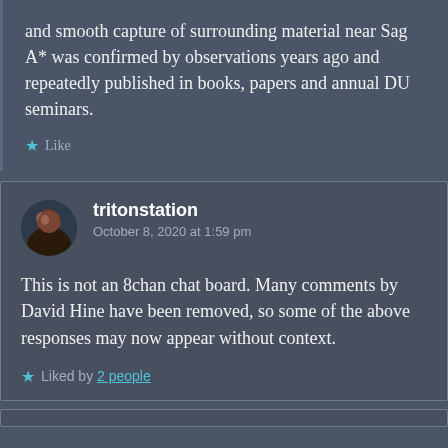and smooth capture of surrounding material near Sag A* was confirmed by observations years ago and repeatedly published in books, papers and annual DU seminars.
★ Like
tritonstation
October 8, 2020 at 1:59 pm
This is not an 8chan chat board. Many comments by David Hine have been removed, so some of the above responses may now appear without context.
★ Liked by 2 people